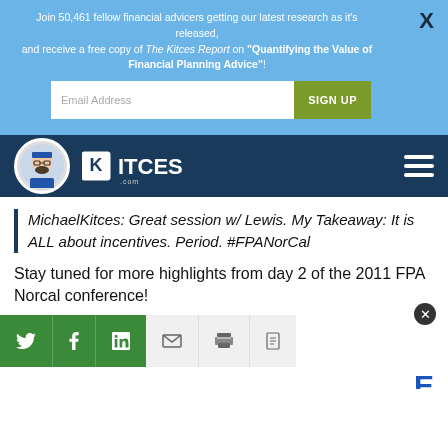Join 50,461 fellow financial advicers getting our latest research as it's released, and receive a free copy of The Kitces Report on "Quantifying the Value of Financial Planning Advice"!
[Figure (logo): Kitces.com navigation bar with avatar avatar and KITCES logo]
MichaelKitces: Great session w/ Lewis. My Takeaway: It is ALL about incentives. Period. #FPANorCal
Stay tuned for more highlights from day 2 of the 2011 FPA Norcal conference!